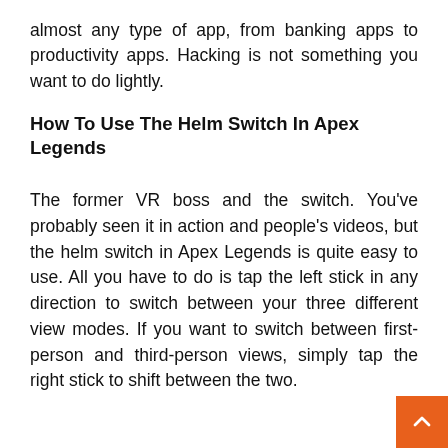almost any type of app, from banking apps to productivity apps. Hacking is not something you want to do lightly.
How To Use The Helm Switch In Apex Legends
The former VR boss and the switch. You've probably seen it in action and people's videos, but the helm switch in Apex Legends is quite easy to use. All you have to do is tap the left stick in any direction to switch between your three different view modes. If you want to switch between first-person and third-person views, simply tap the right stick to shift between the two.